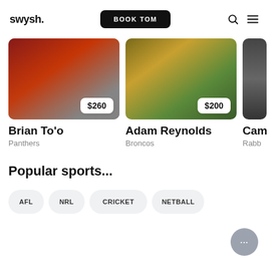swysh. | BOOK TOM
[Figure (photo): Photo of Brian To'o (Panthers rugby player) holding a ball, with $260 price badge]
Brian To'o
Panthers
[Figure (photo): Photo of Adam Reynolds (Broncos rugby player) with ball, with $200 price badge]
Adam Reynolds
Broncos
[Figure (photo): Partial photo of Cam (Rabbitohs player, partially cropped)]
Cam
Rabb
Popular sports...
AFL
NRL
CRICKET
NETBALL